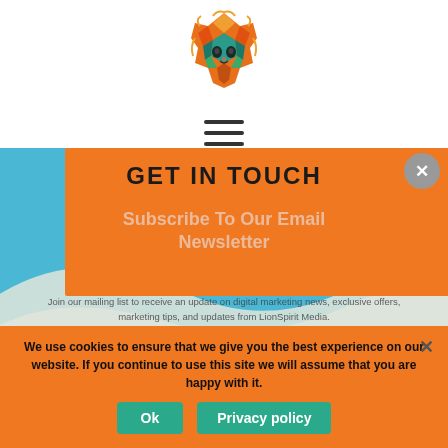[Figure (logo): Colorful geometric lion head logo in orange, teal and green tones]
[Figure (other): Hamburger menu icon — three horizontal lines]
GET IN TOUCH
Subscribe To Our Email Newsletter
Join our mailing list to receive an update on digital marketing news, exclusive offers, marketing tips, and updates from LionSpirit Media.
We use cookies to ensure that we give you the best experience on our website. If you continue to use this site we will assume that you are happy with it.
Ok
Privacy policy